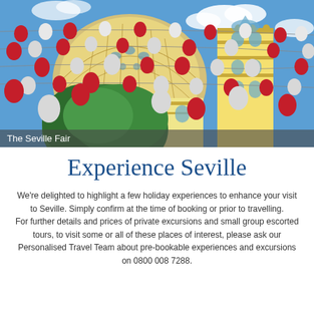[Figure (photo): Photo of the Seville Fair showing a colourful ornate building with a tiled mosaic dome and baroque bell tower decorated with red and white paper lanterns hanging on strings against a bright blue sky with clouds.]
The Seville Fair
Experience Seville
We're delighted to highlight a few holiday experiences to enhance your visit to Seville. Simply confirm at the time of booking or prior to travelling. For further details and prices of private excursions and small group escorted tours, to visit some or all of these places of interest, please ask our Personalised Travel Team about pre-bookable experiences and excursions on 0800 008 7288.